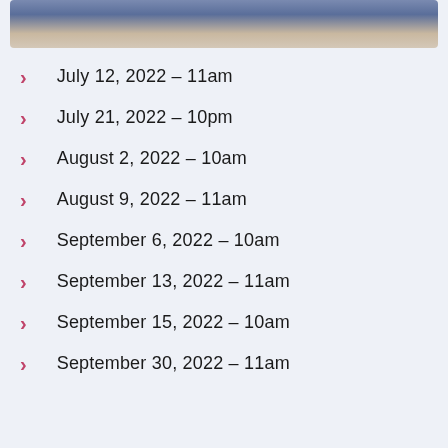[Figure (photo): Partial photo of two people at the top of the page]
July 12, 2022 – 11am
July 21, 2022 – 10pm
August 2, 2022 – 10am
August 9, 2022 – 11am
September 6, 2022 – 10am
September 13, 2022 – 11am
September 15, 2022 – 10am
September 30, 2022 – 11am